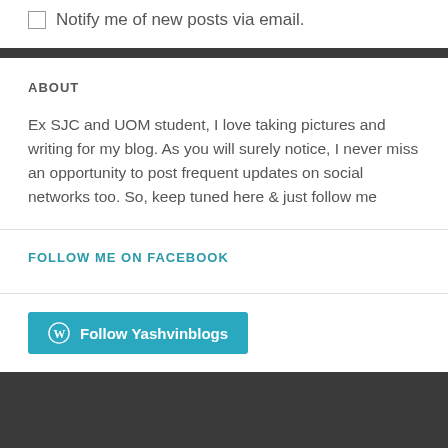Notify me of new posts via email.
ABOUT
Ex SJC and UOM student, I love taking pictures and writing for my blog. As you will surely notice, I never miss an opportunity to post frequent updates on social networks too. So, keep tuned here & just follow me
FOLLOW ME ON FACEBOOK
Follow Yashvinblogs